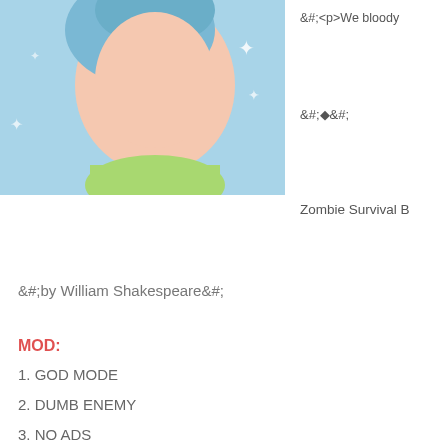[Figure (illustration): Cartoon illustration of a character with blue hair against a light blue background with sparkle star shapes]
&#;<p>We bloody
&#;&#;&#;
Zombie Survival B
&#;by William Shakespeare&#;
MOD:
1. GOD MODE
2. DUMB ENEMY
3. NO ADS
DOWNLOAD:
roblox esp script Mission (Mod Apk) – DRIVE LINK